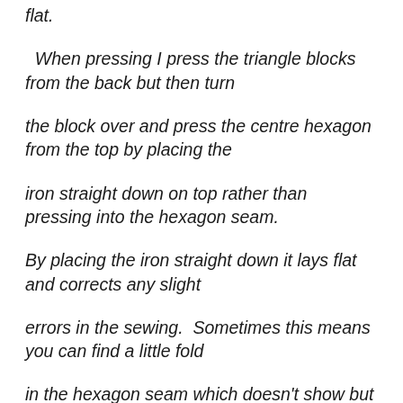flat.

  When pressing I press the triangle blocks from the back but then turn

the block over and press the centre hexagon from the top by placing the

iron straight down on top rather than pressing into the hexagon seam.

By placing the iron straight down it lays flat and corrects any slight

errors in the sewing.  Sometimes this means you can find a little fold

in the hexagon seam which doesn't show but makes it sit flat.  I use the